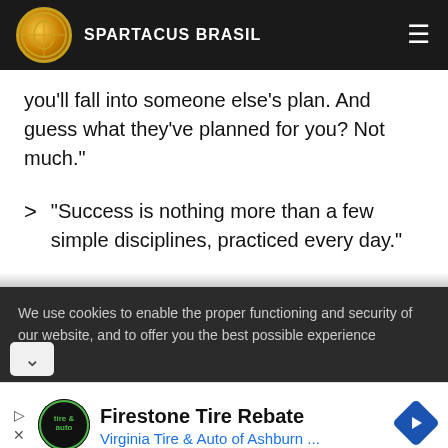SPARTACUS BRASIL
you'll fall into someone else's plan. And guess what they've planned for you? Not much."
"Success is nothing more than a few simple disciplines, practiced every day."
We use cookies to enable the proper functioning and security of our website, and to offer you the best possible experience
Firestone Tire Rebate
Virginia Tire & Auto of Ashburn ...